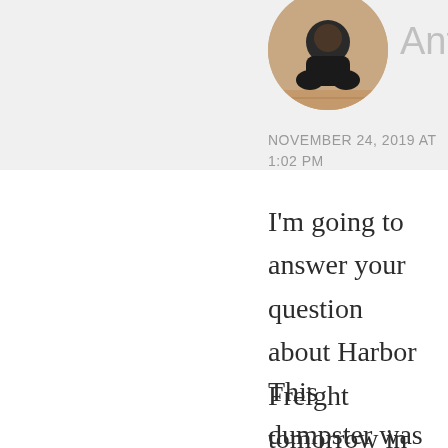[Figure (photo): Circular avatar photo of a person sitting on the floor, partially cropped at top]
Dan Antion
NOVEMBER 24, 2019 AT 1:02 PM
I'm going to answer your question about Harbor Freight tomorrow in my post. You know, tune in at eleven 😏
This dumpster was little, but they've been